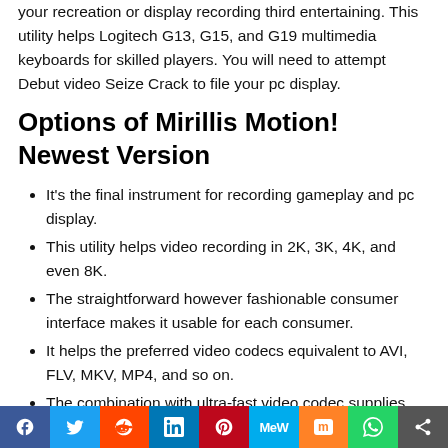your recreation or display recording third entertaining. This utility helps Logitech G13, G15, and G19 multimedia keyboards for skilled players. You will need to attempt Debut video Seize Crack to file your pc display.
Options of Mirillis Motion! Newest Version
It's the final instrument for recording gameplay and pc display.
This utility helps video recording in 2K, 3K, 4K, and even 8K.
The straightforward however fashionable consumer interface makes it usable for each consumer.
It helps the preferred video codecs equivalent to AVI, FLV, MKV, MP4, and so on.
The combination with ultra-fast video codec supplies the